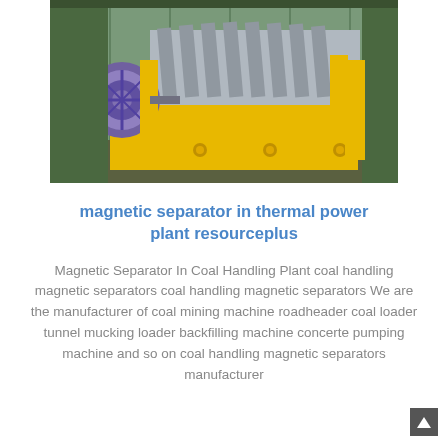[Figure (photo): Industrial magnetic separator machine, painted yellow with metallic grey components, photographed inside a shipping container or warehouse. The machine has a large belt/pulley on the left side and a multi-channel separator unit on the right.]
magnetic separator in thermal power plant resourceplus
Magnetic Separator In Coal Handling Plant coal handling magnetic separators coal handling magnetic separators We are the manufacturer of coal mining machine roadheader coal loader tunnel mucking loader backfilling machine concerte pumping machine and so on coal handling magnetic separators manufacturer